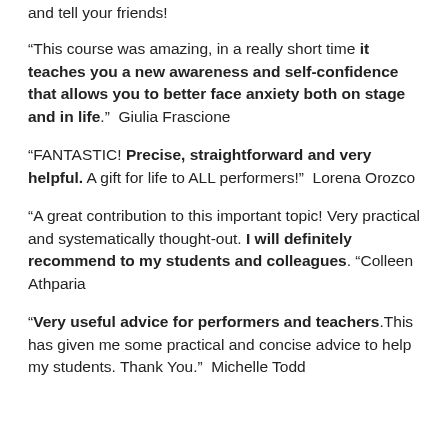and tell your friends!
“This course was amazing, in a really short time it teaches you a new awareness and self-confidence that allows you to better face anxiety both on stage and in life.”  Giulia Frascione
“FANTASTIC! Precise, straightforward and very helpful. A gift for life to ALL performers!”  Lorena Orozco
“A great contribution to this important topic! Very practical and systematically thought-out. I will definitely recommend to my students and colleagues. “Colleen Athparia
“Very useful advice for performers and teachers.This has given me some practical and concise advice to help my students. Thank You.”  Michelle Todd